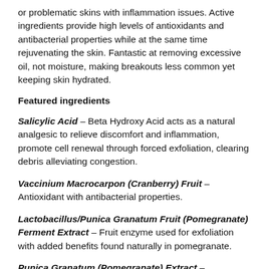or problematic skins with inflammation issues. Active ingredients provide high levels of antioxidants and antibacterial properties while at the same time rejuvenating the skin. Fantastic at removing excessive oil, not moisture, making breakouts less common yet keeping skin hydrated.
Featured ingredients
Salicylic Acid – Beta Hydroxy Acid acts as a natural analgesic to relieve discomfort and inflammation, promote cell renewal through forced exfoliation, clearing debris alleviating congestion.
Vaccinium Macrocarpon (Cranberry) Fruit – Antioxidant with antibacterial properties.
Lactobacillus/Punica Granatum Fruit (Pomegranate) Ferment Extract – Fruit enzyme used for exfoliation with added benefits found naturally in pomegranate.
Punica Granatum (Pomegranate) Extract – Antioxidant with high polyphenol content, contains chlorogenic acid (natural sun protection), anti-inflammatory, antibacterial, antiviral